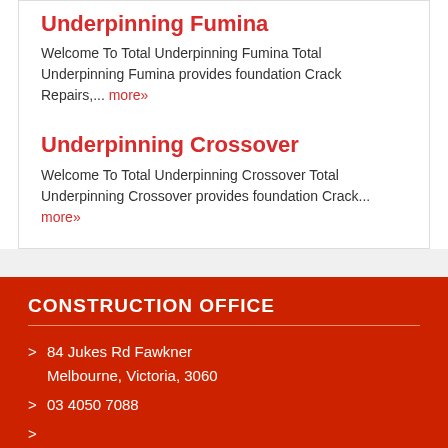Underpinning Fumina
Welcome To Total Underpinning Fumina Total Underpinning Fumina provides foundation Crack Repairs,... more»
Underpinning Crossover
Welcome To Total Underpinning Crossover Total Underpinning Crossover provides foundation Crack... more»
CONSTRUCTION OFFICE
> 84 Jukes Rd Fawkner Melbourne, Victoria, 3060
> 03 4050 7088
>